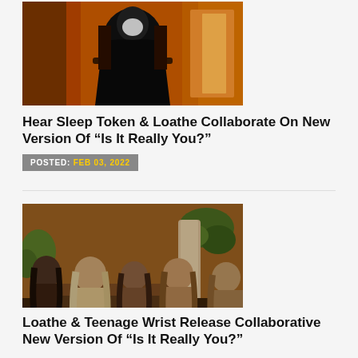[Figure (photo): A masked figure dressed in black seated in a chair against an orange/warm background]
Hear Sleep Token & Loathe Collaborate On New Version Of “Is It Really You?”
POSTED: FEB 03, 2022
[Figure (photo): A band group photo showing several long-haired musicians seated indoors with warm lighting and plants in the background]
Loathe & Teenage Wrist Release Collaborative New Version Of “Is It Really You?”